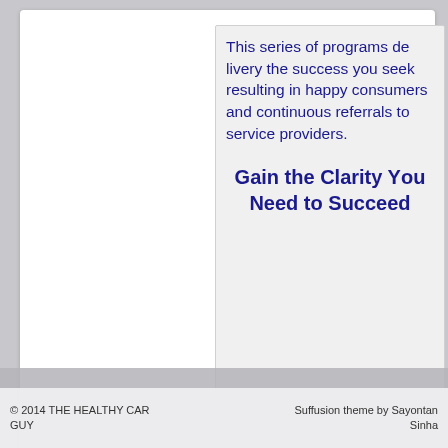This series of programs delivers the success you seek resulting in happy consumers and continuous referrals to service providers.
Gain the Clarity You Need to Succeed
© 2014 THE HEALTHY CAR GUY · Suffusion theme by Sayontan Sinha